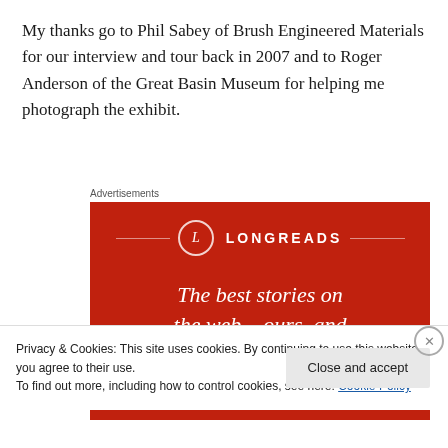My thanks go to Phil Sabey of Brush Engineered Materials for our interview and tour back in 2007 and to Roger Anderson of the Great Basin Museum for helping me photograph the exhibit.
Advertisements
[Figure (illustration): Longreads advertisement banner with red background, Longreads logo (L in circle), and text 'The best stories on the web – ours, and']
Privacy & Cookies: This site uses cookies. By continuing to use this website, you agree to their use.
To find out more, including how to control cookies, see here: Cookie Policy